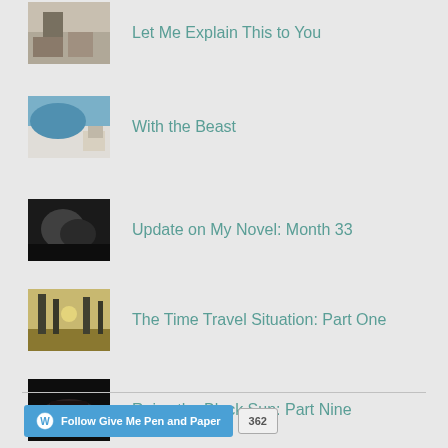Let Me Explain This to You
With the Beast
Update on My Novel: Month 33
The Time Travel Situation: Part One
Raise the Black Sun: Part Nine
The Time Travel Situation: Part Six
Follow Give Me Pen and Paper 362